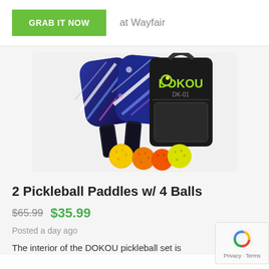GRAB IT NOW  at Wayfair
[Figure (photo): Two DOKOU pickleball paddles with dark blue graphic design, a black DOKOU DK-01 carrying case/bag, and 4 pickleball balls (yellow and orange) arranged together as a product set.]
2 Pickleball Paddles w/ 4 Balls
$65.99  $35.99
Posted a day ago
The interior of the DOKOU pickleball set is